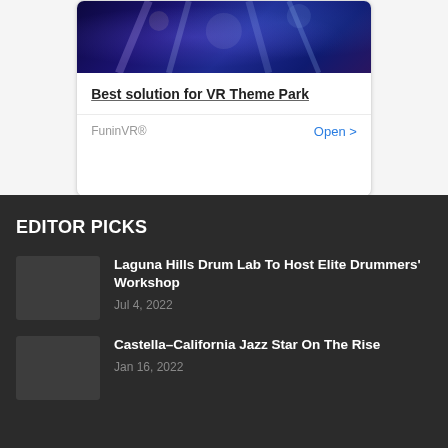[Figure (screenshot): Advertisement banner image showing a concert/performance scene with blue and purple stage lighting]
Best solution for VR Theme Park
FuninVR®
Open >
EDITOR PICKS
Laguna Hills Drum Lab To Host Elite Drummers' Workshop
Jul 4, 2022
Castella–California Jazz Star On The Rise
Jan 16, 2022